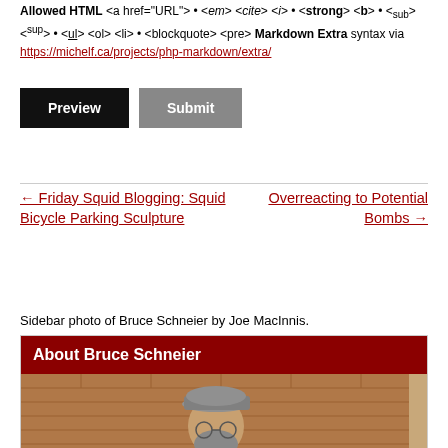Allowed HTML <a href="URL"> • <em> <cite> <i> • <strong> <b> • <sub> <sup> • <ul> <ol> <li> • <blockquote> <pre> Markdown Extra syntax via https://michelf.ca/projects/php-markdown/extra/
Preview | Submit
← Friday Squid Blogging: Squid Bicycle Parking Sculpture
Overreacting to Potential Bombs →
Sidebar photo of Bruce Schneier by Joe MacInnis.
About Bruce Schneier
[Figure (photo): Photo of Bruce Schneier, a bearded man wearing a grey flat cap, holding a laptop with a sticker reading 'THIS MACHINE KILLS FASCISTS']